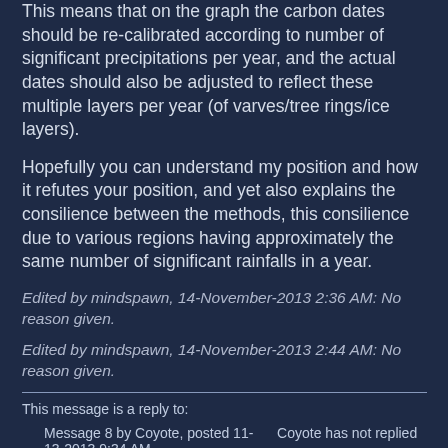This means that on the graph the carbon dates should be re-calibrated according to number of significant precipitations per year, and the actual dates should also be adjusted to reflect these multiple layers per year (of varves/tree rings/ice layers).
Hopefully you can understand my position and how it refutes your position, and yet also explains the consilience between the methods, this consilience due to various regions having approximately the same number of significant rainfalls in a year.
Edited by mindspawn, 14-November-2013 2:36 AM: No reason given.
Edited by mindspawn, 14-November-2013 2:44 AM: No reason given.
This message is a reply to:
|  |  |
| --- | --- |
| Message 8 by Coyote, posted 11-13-2013 9:34 AM | Coyote has not replied |
profile | reply | peek